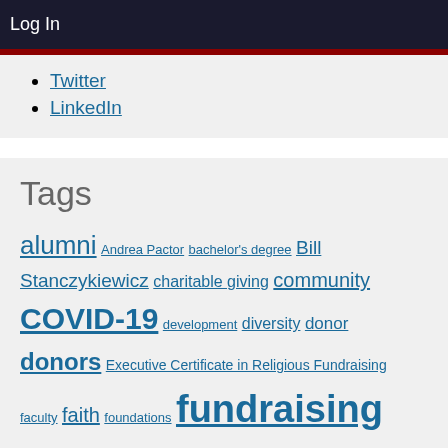Log In
Twitter
LinkedIn
Tags
alumni Andrea Pactor bachelor's degree Bill Stanczykiewicz charitable giving community COVID-19 development diversity donor donors Executive Certificate in Religious Fundraising faculty faith foundations fundraising gender generosity giving impact internship Kristi Howard-Shultz Lake Institute on Faith & Giving Leslie Lenkowsky Lilly Family School of Philanthropy master's degree master's